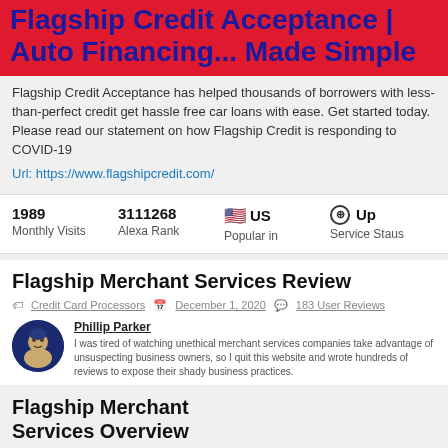Flagship Credit Acceptance | Auto Financing... Made Simple
Flagship Credit Acceptance has helped thousands of borrowers with less-than-perfect credit get hassle free car loans with ease. Get started today. Please read our statement on how Flagship Credit is responding to COVID-19
Url: https://www.flagshipcredit.com/
| Stat | Value |
| --- | --- |
| 1989 | Monthly Visits |
| 3111268 | Alexa Rank |
| US | Popular in |
| Up | Service Staus |
Flagship Merchant Services Review
Credit Card Processors  December 1, 2020  183 User Reviews
Phillip Parker
I was tired of watching unethical merchant services companies take advantage of unsuspecting business owners, so I quit this website and wrote hundreds of reviews to expose their shady business practices.
Flagship Merchant Services Overview
183